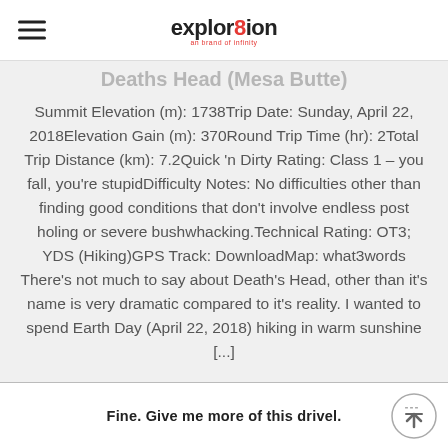explor8ion
Deaths Head (Mesa Butte)
Summit Elevation (m): 1738Trip Date: Sunday, April 22, 2018Elevation Gain (m): 370Round Trip Time (hr): 2Total Trip Distance (km): 7.2Quick 'n Dirty Rating: Class 1 – you fall, you're stupidDifficulty Notes: No difficulties other than finding good conditions that don't involve endless post holing or severe bushwhacking.Technical Rating: OT3; YDS (Hiking)GPS Track: DownloadMap: what3words There's not much to say about Death's Head, other than it's name is very dramatic compared to it's reality. I wanted to spend Earth Day (April 22, 2018) hiking in warm sunshine [...]
Fine. Give me more of this drivel.